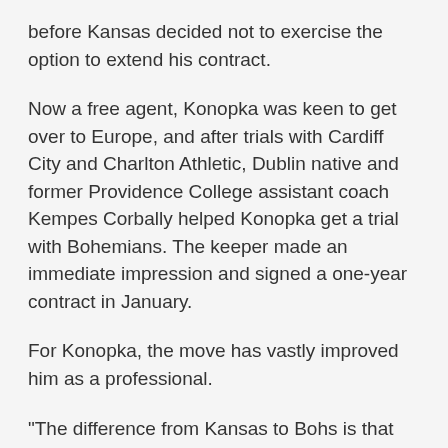before Kansas decided not to exercise the option to extend his contract.
Now a free agent, Konopka was keen to get over to Europe, and after trials with Cardiff City and Charlton Athletic, Dublin native and former Providence College assistant coach Kempes Corbally helped Konopka get a trial with Bohemians. The keeper made an immediate impression and signed a one-year contract in January.
For Konopka, the move has vastly improved him as a professional.
“The difference from Kansas to Bohs is that Bohs showed me a lot more attention when it came to developing my game and really getting everything out of me that I was able to (give),” Konopka told the Irish Voice.
At Bohemians, the 23-year-old had a chance to learn from